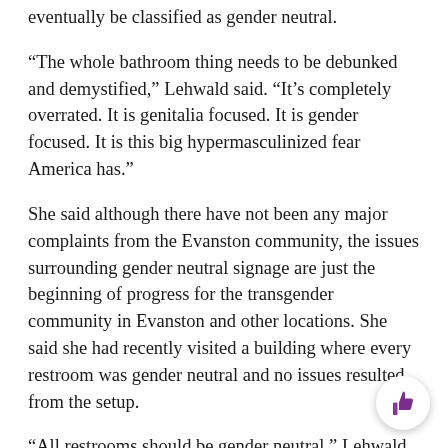eventually be classified as gender neutral.
“The whole bathroom thing needs to be debunked and demystified,” Lehwald said. “It’s completely overrated. It is genitalia focused. It is gender focused. It is this big hypermasculinized fear America has.”
She said although there have not been any major complaints from the Evanston community, the issues surrounding gender neutral signage are just the beginning of progress for the transgender community in Evanston and other locations. She said she had recently visited a building where every restroom was gender neutral and no issues resulted from the setup.
“All restrooms should be gender neutral,” Lehwald said. “No more urinals. People should be able to go into a locked stall by themselves and have it be normal.”
Bobkiewicz said the ordinance is meant to help transgene…